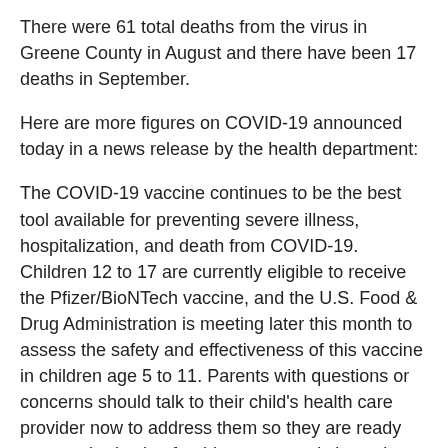There were 61 total deaths from the virus in Greene County in August and there have been 17 deaths in September.
Here are more figures on COVID-19 announced today in a news release by the health department:
The COVID-19 vaccine continues to be the best tool available for preventing severe illness, hospitalization, and death from COVID-19. Children 12 to 17 are currently eligible to receive the Pfizer/BioNTech vaccine, and the U.S. Food & Drug Administration is meeting later this month to assess the safety and effectiveness of this vaccine in children age 5 to 11. Parents with questions or concerns should talk to their child's health care provider now to address them so they are ready once authorization for this age group is issued.
For those 12 and older who are already eligible, now is the time to get vaccinated. A full list of vaccine opportunities can be found at vaccine417.com or by